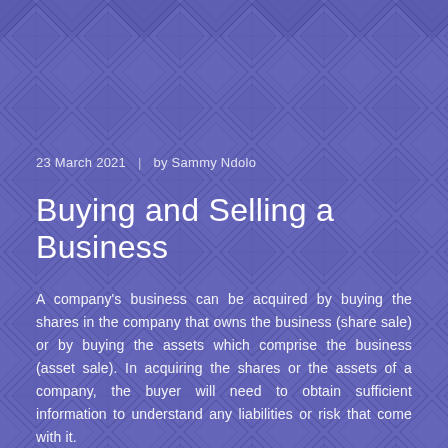[Figure (illustration): Purple/indigo geometric diamond tile pattern background covering the entire page]
23 March 2021  |  by Sammy Ndolo
Buying and Selling a Business
A company's business can be acquired by buying the shares in the company that owns the business (share sale) or by buying the assets which comprise the business (asset sale). In acquiring the shares or the assets of a company, the buyer will need to obtain sufficient information to understand any liabilities or risk that come with it.